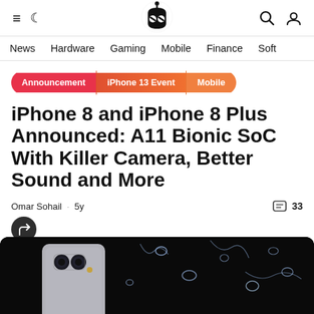News · Hardware · Gaming · Mobile · Finance · Soft
Announcement
iPhone 13 Event
Mobile
iPhone 8 and iPhone 8 Plus Announced: A11 Bionic SoC With Killer Camera, Better Sound and More
Omar Sohail · 5y
33
[Figure (photo): iPhone 8 Plus with dual cameras being splashed with water drops, dark background]